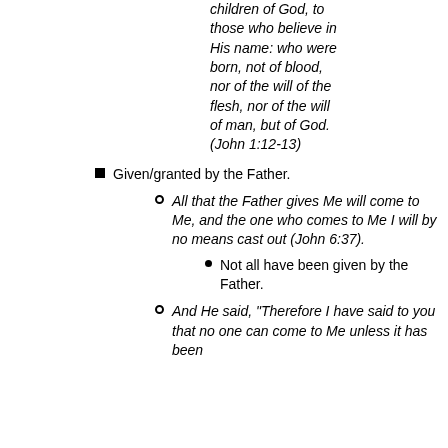children of God, to those who believe in His name: who were born, not of blood, nor of the will of the flesh, nor of the will of man, but of God. (John 1:12-13)
Given/granted by the Father.
All that the Father gives Me will come to Me, and the one who comes to Me I will by no means cast out (John 6:37).
Not all have been given by the Father.
And He said, “Therefore I have said to you that no one can come to Me unless it has been